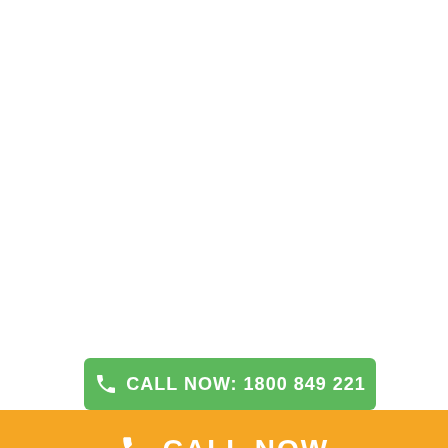CALL NOW: 1800 849 221
CALL NOW